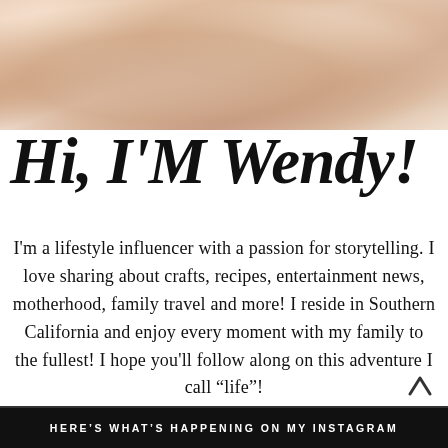[Figure (photo): Close-up photo of a person with blonde hair, soft skin tones, appears to be a lifestyle/personal photo]
Hi, I'M Wendy!
I'm a lifestyle influencer with a passion for storytelling. I love sharing about crafts, recipes, entertainment news, motherhood, family travel and more! I reside in Southern California and enjoy every moment with my family to the fullest! I hope you'll follow along on this adventure I call "life"!
HERE'S WHAT'S HAPPENING ON MY INSTAGRAM